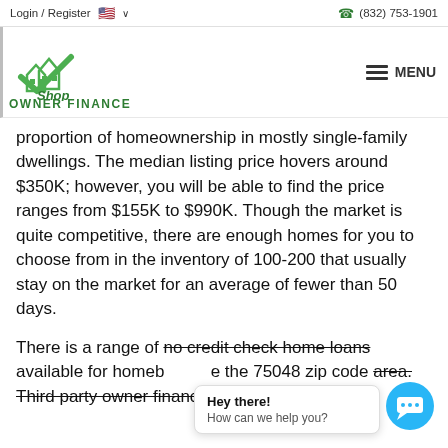Login / Register   🇺🇸 ∨     ☎ (832) 753-1901
[Figure (logo): Shop Owner Finance logo — green house/checkmark icon with 'Shop' text and 'OWNER FINANCE' below]
proportion of homeownership in mostly single-family dwellings. The median listing price hovers around $350K; however, you will be able to find the price ranges from $155K to $990K. Though the market is quite competitive, there are enough homes for you to choose from in the inventory of 100-200 that usually stay on the market for an average of fewer than 50 days.
There is a range of no credit check home loans available for homebuyures in the 75048 zip code area. Third party owner financing is
Hey there!
How can we help you?